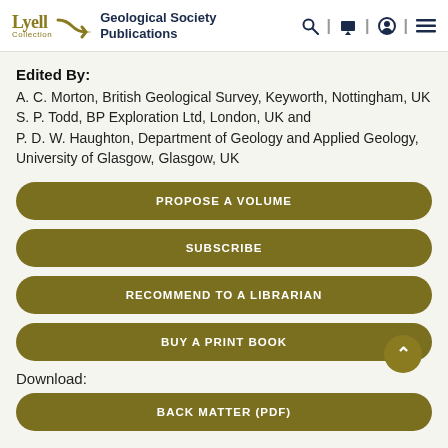Lyell Collection | Geological Society Publications
Edited By:
A. C. Morton, British Geological Survey, Keyworth, Nottingham, UK
S. P. Todd, BP Exploration Ltd, London, UK and
P. D. W. Haughton, Department of Geology and Applied Geology, University of Glasgow, Glasgow, UK
PROPOSE A VOLUME
SUBSCRIBE
RECOMMEND TO A LIBRARIAN
BUY A PRINT BOOK
Download:
BACK MATTER (PDF)